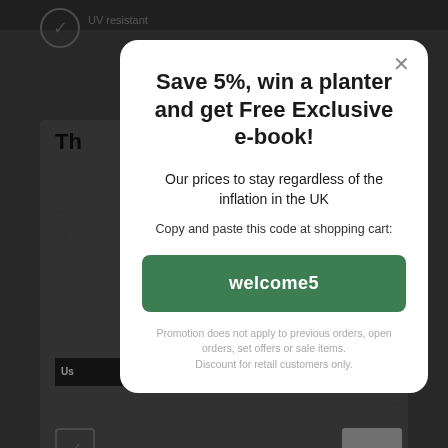Save 5%, win a planter and get Free Exclusive e-book!
Our prices to stay regardless of the inflation in the UK
Copy and paste this code at shopping cart:
welcome5
Promotion does not apply to previous orders, open orders, set offers or sale items. Discount for retail customers only.